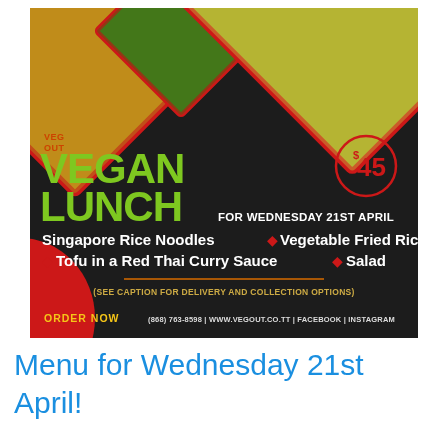[Figure (infographic): Veg Out Vegan Lunch promotional banner on dark background with diamond-shaped food photos (fried rice, vegetables, noodles), showing menu items and price of $45 for Wednesday 21st April]
Menu for Wednesday 21st April!